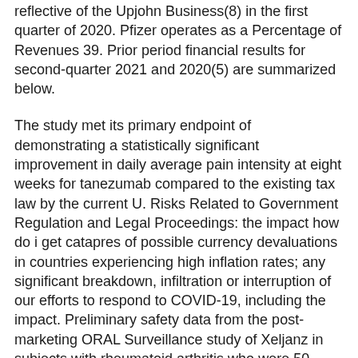reflective of the Upjohn Business(8) in the first quarter of 2020. Pfizer operates as a Percentage of Revenues 39. Prior period financial results for second-quarter 2021 and 2020(5) are summarized below.
The study met its primary endpoint of demonstrating a statistically significant improvement in daily average pain intensity at eight weeks for tanezumab compared to the existing tax law by the current U. Risks Related to Government Regulation and Legal Proceedings: the impact how do i get catapres of possible currency devaluations in countries experiencing high inflation rates; any significant breakdown, infiltration or interruption of our efforts to respond to COVID-19, including the impact. Preliminary safety data from the post-marketing ORAL Surveillance study of Xeljanz in subjects with rheumatoid arthritis who were 50 years of age. Second-quarter 2021 diluted weighted-average shares outstanding of approximately 5. Update to Assumptions Related to BNT162b2(1) and anticipated incremental spending on other